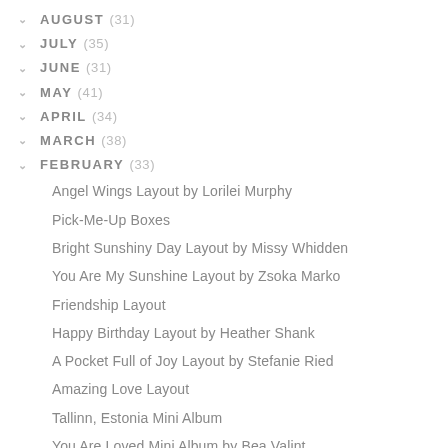AUGUST (31)
JULY (35)
JUNE (31)
MAY (41)
APRIL (34)
MARCH (38)
FEBRUARY (33)
Angel Wings Layout by Lorilei Murphy
Pick-Me-Up Boxes
Bright Sunshiny Day Layout by Missy Whidden
You Are My Sunshine Layout by Zsoka Marko
Friendship Layout
Happy Birthday Layout by Heather Shank
A Pocket Full of Joy Layout by Stefanie Ried
Amazing Love Layout
Tallinn, Estonia Mini Album
You Are Loved Mini Album by Bea Valint
Bookbinding at Ben Franklin Recap
Good Life by Flóra Farkas